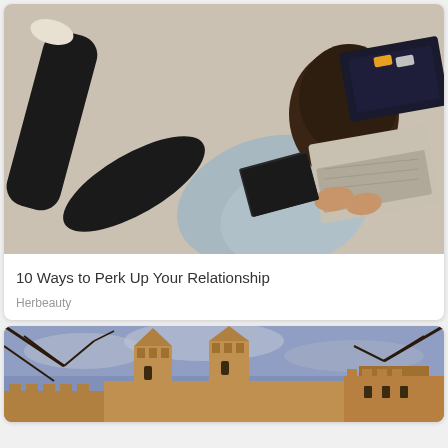[Figure (photo): Overhead view of a young woman lying on a carpet floor working on a MacBook laptop, wearing black leggings and a light grey hoodie]
10 Ways to Perk Up Your Relationship
Herbeauty
[Figure (photo): Low-angle view of a medieval stone castle with pointed towers against a cloudy purple-blue sky with bare tree branches in the foreground]